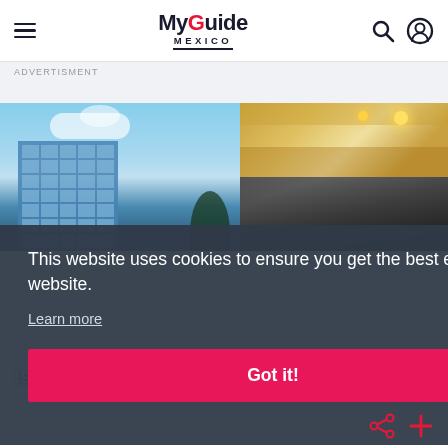MyGuide Mexico
ADVERTISMENT
[Figure (photo): Left: glass skyscraper against blue sky with clouds. Right top: luxury hotel room interior with warm golden lighting. Right bottom: dark hotel room interior.]
This website uses cookies to ensure you get the best experience on our website.
Learn more
Got it!
Isaaya Boutique Hotel